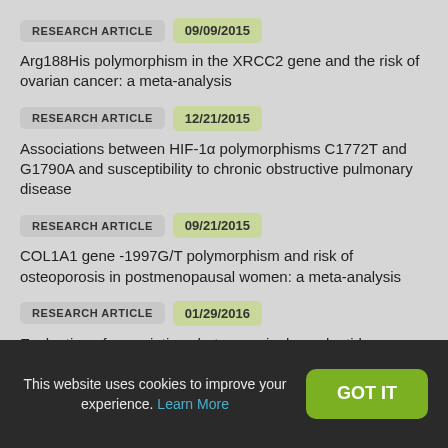RESEARCH ARTICLE | 09/09/2015 — Arg188His polymorphism in the XRCC2 gene and the risk of ovarian cancer: a meta-analysis
RESEARCH ARTICLE | 12/21/2015 — Associations between HIF-1α polymorphisms C1772T and G1790A and susceptibility to chronic obstructive pulmonary disease
RESEARCH ARTICLE | 09/21/2015 — COL1A1 gene -1997G/T polymorphism and risk of osteoporosis in postmenopausal women: a meta-analysis
RESEARCH ARTICLE | 01/29/2016 — Evaluation of associations between single nucleotide polymorphisms in
This website uses cookies to improve your experience. Learn More